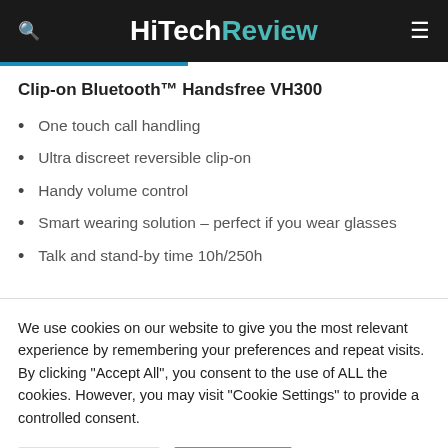HiTechReview
Clip-on Bluetooth™ Handsfree VH300
One touch call handling
Ultra discreet reversible clip-on
Handy volume control
Smart wearing solution – perfect if you wear glasses
Talk and stand-by time 10h/250h
We use cookies on our website to give you the most relevant experience by remembering your preferences and repeat visits. By clicking "Accept All", you consent to the use of ALL the cookies. However, you may visit "Cookie Settings" to provide a controlled consent.